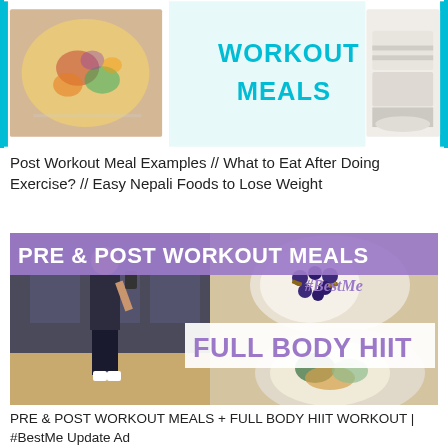[Figure (photo): Thumbnail image showing food dishes and text 'WORKOUT MEALS' on teal/cyan background with teal border sides]
Post Workout Meal Examples // What to Eat After Doing Exercise? // Easy Nepali Foods to Lose Weight
[Figure (photo): Collage image showing a woman in gym selfie, food dishes with blueberries and grains, text overlay 'PRE & POST WORKOUT MEALS #BestMe' in purple banner and 'FULL BODY HIIT' in white box]
PRE & POST WORKOUT MEALS + FULL BODY HIIT WORKOUT | #BestMe Update Ad